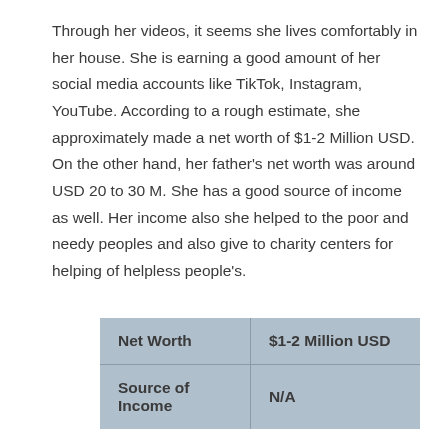Through her videos, it seems she lives comfortably in her house. She is earning a good amount of her social media accounts like TikTok, Instagram, YouTube. According to a rough estimate, she approximately made a net worth of $1-2 Million USD. On the other hand, her father's net worth was around USD 20 to 30 M. She has a good source of income as well. Her income also she helped to the poor and needy peoples and also give to charity centers for helping of helpless people's.
| Net Worth | $1-2 Million USD |
| Source of Income | N/A |